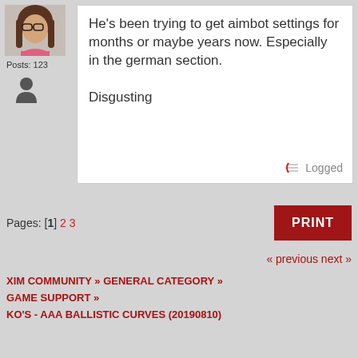[Figure (photo): User avatar photo showing a person with glasses and long hair]
Posts: 123
[Figure (illustration): Generic user silhouette icon]
He's been trying to get aimbot settings for months or maybe years now. Especially in the german section.

Disgusting
Logged
Pages: [1] 2 3
PRINT
« previous next »
XIM COMMUNITY » GENERAL CATEGORY » GAME SUPPORT » KO'S - AAA BALLISTIC CURVES (20190810)